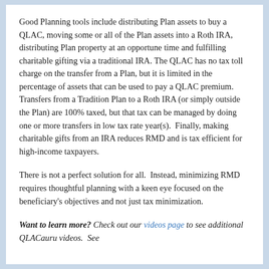Good Planning tools include distributing Plan assets to buy a QLAC, moving some or all of the Plan assets into a Roth IRA, distributing Plan property at an opportune time and fulfilling charitable gifting via a traditional IRA. The QLAC has no tax toll charge on the transfer from a Plan, but it is limited in the percentage of assets that can be used to pay a QLAC premium.  Transfers from a Tradition Plan to a Roth IRA (or simply outside the Plan) are 100% taxed, but that tax can be managed by doing one or more transfers in low tax rate year(s).  Finally, making charitable gifts from an IRA reduces RMD and is tax efficient for high-income taxpayers.
There is not a perfect solution for all.  Instead, minimizing RMD requires thoughtful planning with a keen eye focused on the beneficiary's objectives and not just tax minimization.
Want to learn more? Check out our videos page to see additional QLACauru videos.  See